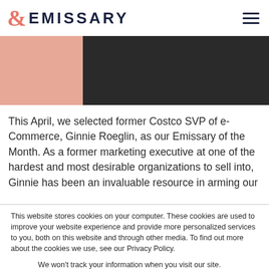EMISSARY
[Figure (photo): Hero image with salmon/peach background on the left and a dark photo of a person on the right]
This April, we selected former Costco SVP of e-Commerce, Ginnie Roeglin, as our Emissary of the Month. As a former marketing executive at one of the hardest and most desirable organizations to sell into, Ginnie has been an invaluable resource in arming our
This website stores cookies on your computer. These cookies are used to improve your website experience and provide more personalized services to you, both on this website and through other media. To find out more about the cookies we use, see our Privacy Policy.
We won't track your information when you visit our site. But in order to comply with your preferences, we'll have to use just one tiny cookie so that you're not asked to make this choice again.
Accept   Decline